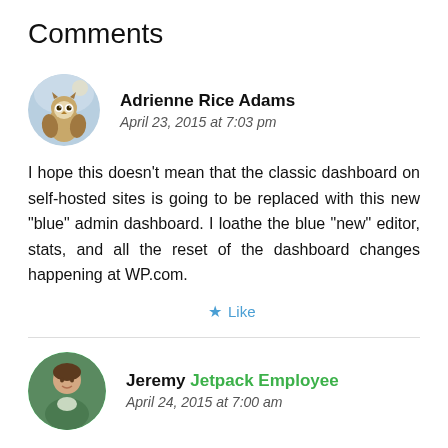Comments
Adrienne Rice Adams
April 23, 2015 at 7:03 pm
I hope this doesn’t mean that the classic dashboard on self-hosted sites is going to be replaced with this new “blue” admin dashboard. I loathe the blue “new” editor, stats, and all the reset of the dashboard changes happening at WP.com.
★ Like
Jeremy  Jetpack Employee
April 24, 2015 at 7:00 am